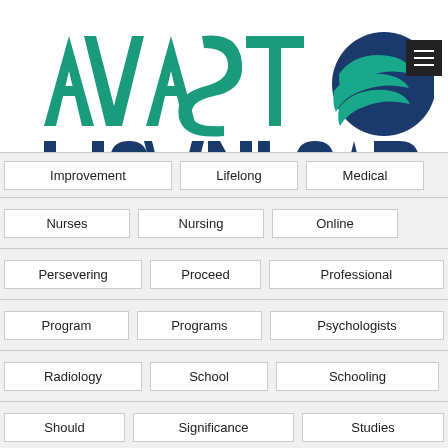[Figure (logo): AVAST DOWNLOAD logo with teal/navy stylized text and circular swoosh emblem on the right]
Improvement
Lifelong
Medical
Nurses
Nursing
Online
Persevering
Proceed
Professional
Program
Programs
Psychologists
Radiology
School
Schooling
Should
Significance
Studies
Studying
Technology
Tache